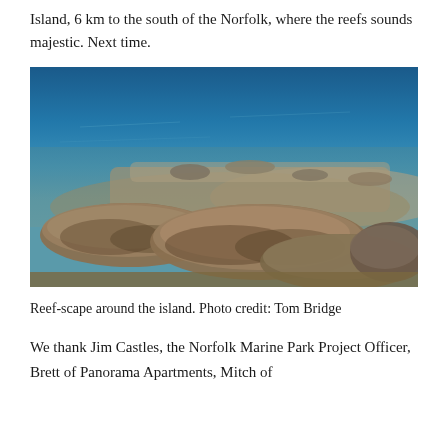Island, 6 km to the south of the Norfolk, where the reefs sounds majestic. Next time.
[Figure (photo): Underwater reef-scape photograph showing large flat table corals in browns and tans with blue water in the background, taken around Norfolk Island. Photo credit: Tom Bridge]
Reef-scape around the island. Photo credit: Tom Bridge
We thank Jim Castles, the Norfolk Marine Park Project Officer, Brett of Panorama Apartments, Mitch of